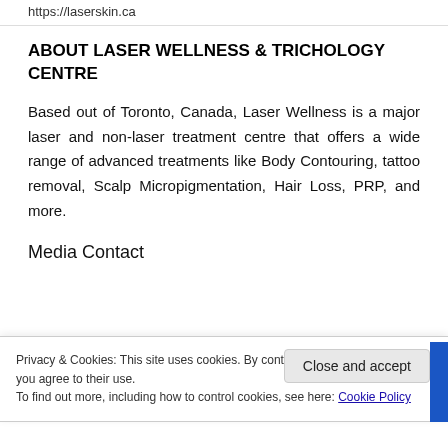https://laserskin.ca
ABOUT LASER WELLNESS & TRICHOLOGY CENTRE
Based out of Toronto, Canada, Laser Wellness is a major laser and non-laser treatment centre that offers a wide range of advanced treatments like Body Contouring, tattoo removal, Scalp Micropigmentation, Hair Loss, PRP, and more.
Media Contact
Privacy & Cookies: This site uses cookies. By continuing to use this website, you agree to their use.
To find out more, including how to control cookies, see here: Cookie Policy